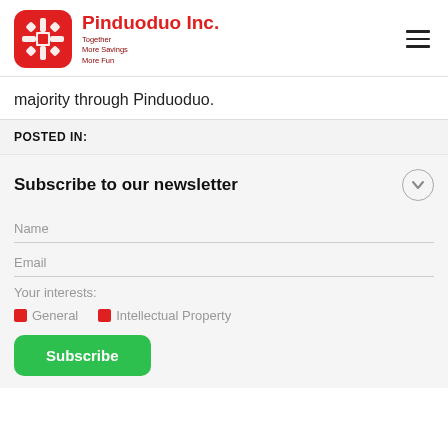[Figure (logo): Pinduoduo Inc. logo with red rounded square icon and tagline 'Together More Savings More Fun']
majority through Pinduoduo.
POSTED IN:
Subscribe to our newsletter
Name
Email
Your interests:
General   Intellectual Property
Subscribe